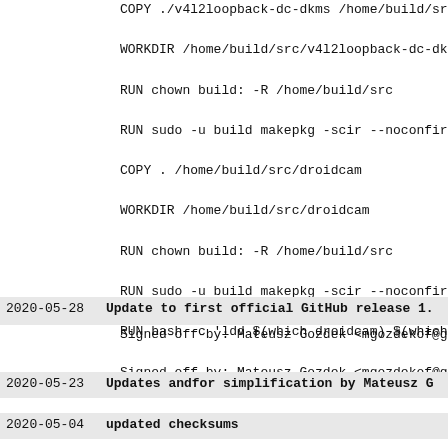COPY ./v4l2loopback-dc-dkms /home/build/src/...
WORKDIR /home/build/src/v4l2loopback-dc-dk...
RUN chown build: -R /home/build/src
RUN sudo -u build makepkg -scir --noconfir...
COPY . /home/build/src/droidcam
WORKDIR /home/build/src/droidcam
RUN chown build: -R /home/build/src
RUN sudo -u build makepkg -scir --noconfir...
RUN bash -c 'ldd $(which droidcam) $(which...
Signed-off-by: Mateusz Gozdek <mgozdekof@g...
2020-05-28  Update to first official GitHub release 1....
Signed-off-by: Mateusz Gozdek <mgozdekof@g...
2020-05-23  Updates andfor simplification by Mateusz G...
2020-05-04  updated checksums